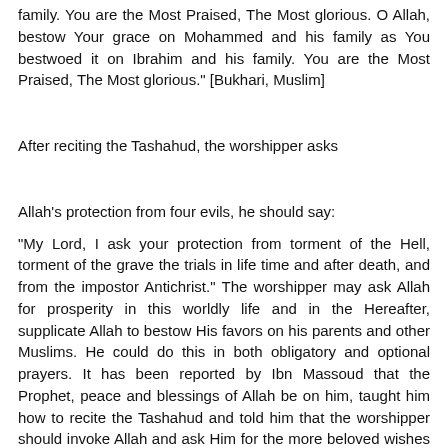family. You are the Most Praised, The Most glorious. O Allah, bestow Your grace on Mohammed and his family as You bestwoed it on Ibrahim and his family. You are the Most Praised, The Most glorious." [Bukhari, Muslim]
After reciting the Tashahud, the worshipper asks
Allah's protection from four evils, he should say:
"My Lord, I ask your protection from torment of the Hell, torment of the grave the trials in life time and after death, and from the impostor Antichrist." The worshipper may ask Allah for prosperity in this worldly life and in the Hereafter, supplicate Allah to bestow His favors on his parents and other Muslims. He could do this in both obligatory and optional prayers. It has been reported by Ibn Massoud that the Prophet, peace and blessings of Allah be on him, taught him how to recite the Tashahud and told him that the worshipper should invoke Allah and ask Him for the more beloved wishes which he likes, or, as it has been related in